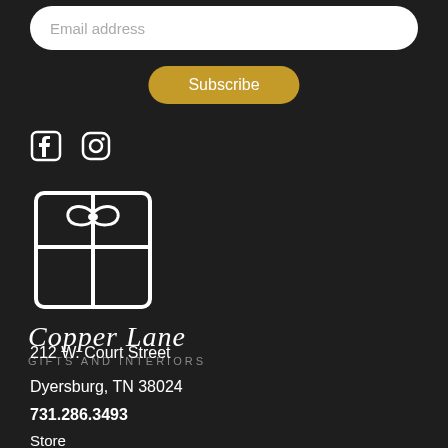Email address
Subscribe
[Figure (logo): Facebook and Instagram social media icons in white]
[Figure (logo): Copper Lane Gifts and Interiors logo — white gift box icon with ribbon, script brand name 'Copper Lane' and subtitle 'GIFTS AND INTERIORS']
212 W. Court Street
Dyersburg, TN 38024
731.286.3493
Store